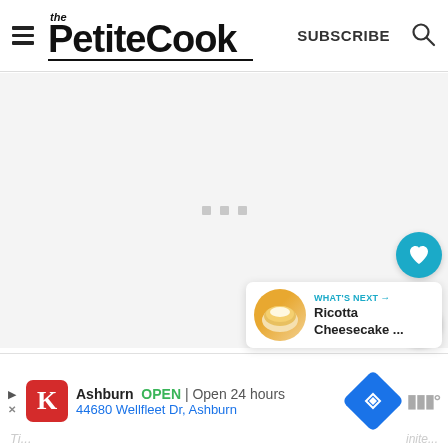the PetiteCook — SUBSCRIBE (search icon)
[Figure (screenshot): Large light gray empty content area with three small gray square dots in the center, representing a loading or blank page state]
[Figure (infographic): Social sharing panel: teal heart button with 26.1K count label below, white share button with plus icon]
[Figure (infographic): What's Next panel: thumbnail of Ricotta Cheesecake dish, label WHAT'S NEXT with arrow, title 'Ricotta Cheesecake ...']
26.1K
WHAT'S NEXT → Ricotta Cheesecake ...
[Figure (infographic): Advertisement bar: Kroger logo (red K), Ashburn OPEN | Open 24 hours, 44680 Wellfleet Dr, Ashburn, blue navigation diamond icon, right-side brand logo]
Ashburn OPEN | Open 24 hours 44680 Wellfleet Dr, Ashburn